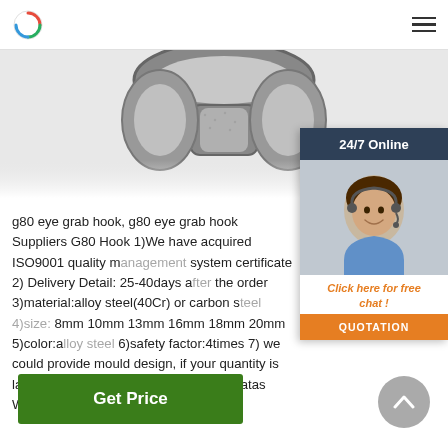Logo and navigation menu
[Figure (photo): Close-up photo of a G80 eye grab hook, metallic gray alloy steel, showing the hook mechanism from above]
[Figure (photo): 24/7 Online customer service chat widget with photo of a female customer service representative wearing a headset, with 'Click here for free chat!' and 'QUOTATION' button]
g80 eye grab hook, g80 eye grab hook Suppliers G80 Hook 1)We have acquired ISO9001 quality management system certificate 2) Delivery Detail: 25-40days after the order 3)material:alloy steel(40Cr) or carbon steel 4)size: 8mm 10mm 13mm 16mm 18mm 20mm 5)color:alloy steel 6)safety factor:4times 7) we could provide mould design, if your quantity is large enough. 8)the following is detail datas WEIGHT/KG WLL/T B. L/T ...
Get Price